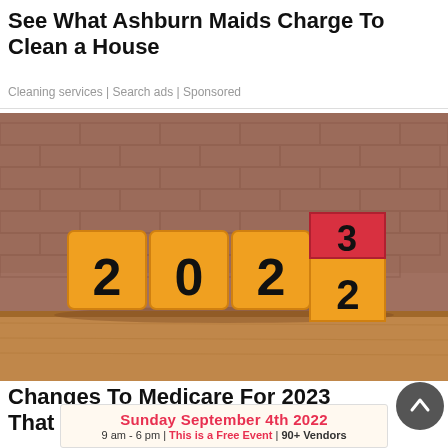See What Ashburn Maids Charge To Clean a House
Cleaning services | Search ads | Sponsored
Search Now
[Figure (photo): Numbered blocks showing 2022 flipping to 2023, with a red cube tilting showing '3' replacing '2', placed on a wooden surface in front of a brick wall background.]
Changes To Medicare For 2023 That Seniors
[Figure (infographic): Banner advertisement: Sunday September 4th 2022, 9 am - 6 pm | This is a Free Event | 90+ Vendors, with fruit decorations on sides.]